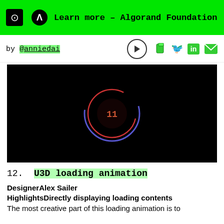Learn more – Algorand Foundation
by @anniedai
[Figure (screenshot): Black video player area with a circular loading animation in the center — concentric circles in red and blue/purple with a pause symbol (11) in orange/red in the center]
12. U3D loading animation
Designer: Alex Sailer
Highlights: Directly displaying loading contents
The most creative part of this loading animation is to